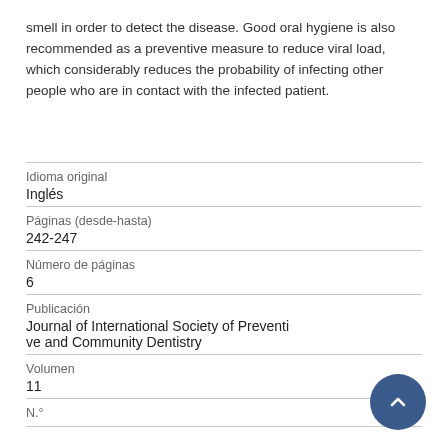smell in order to detect the disease. Good oral hygiene is also recommended as a preventive measure to reduce viral load, which considerably reduces the probability of infecting other people who are in contact with the infected patient.
| Idioma original | Inglés |
| Páginas (desde-hasta) | 242-247 |
| Número de páginas | 6 |
| Publicación | Journal of International Society of Preventive and Community Dentistry |
| Volumen | 11 |
| N.° |  |